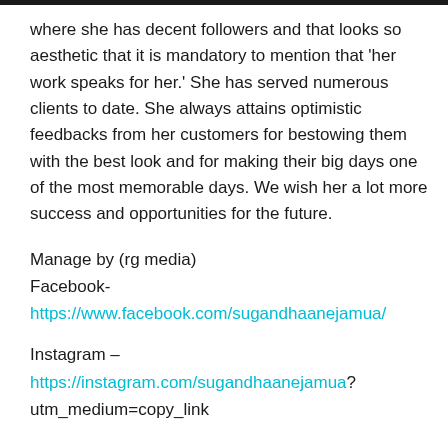where she has decent followers and that looks so aesthetic that it is mandatory to mention that 'her work speaks for her.' She has served numerous clients to date. She always attains optimistic feedbacks from her customers for bestowing them with the best look and for making their big days one of the most memorable days. We wish her a lot more success and opportunities for the future.
Manage by (rg media)
Facebook-
https://www.facebook.com/sugandhaanejamua/
Instagram –
https://instagram.com/sugandhaanejamua?utm_medium=copy_link